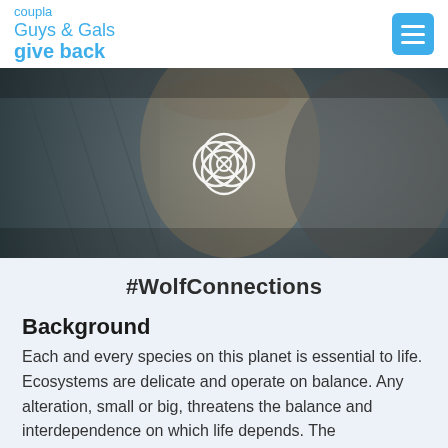coupla Guys & Gals give back
[Figure (photo): Woman kissing or nuzzling a large wolf/dog outdoors near a chain-link fence, with a decorative four-leaf clover / flower icon overlaid in the center of the image]
#WolfConnections
Background
Each and every species on this planet is essential to life. Ecosystems are delicate and operate on balance. Any alteration, small or big, threatens the balance and interdependence on which life depends. The